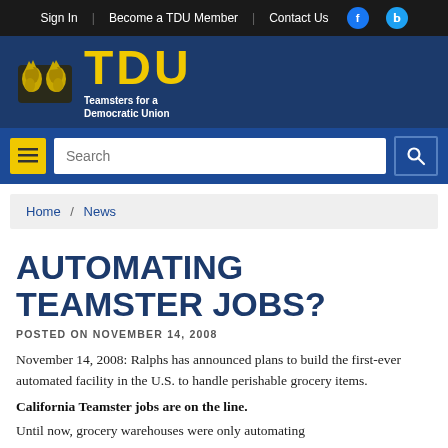Sign In  |  Become a TDU Member  |  Contact Us
[Figure (logo): TDU – Teamsters for a Democratic Union logo with horse emblem on dark blue background]
Search
Home / News
AUTOMATING TEAMSTER JOBS?
POSTED ON NOVEMBER 14, 2008
November 14, 2008: Ralphs has announced plans to build the first-ever automated facility in the U.S. to handle perishable grocery items.
California Teamster jobs are on the line.
Until now, grocery warehouses were only automating